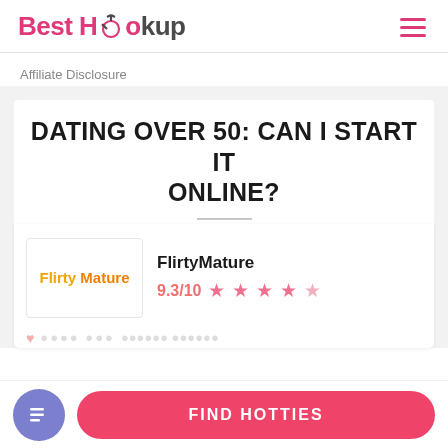Best Hookup
Affiliate Disclosure
DATING OVER 50: CAN I START IT ONLINE?
FlirtyMature
9.3/10 ★★★★☆
FIND HOTTIES